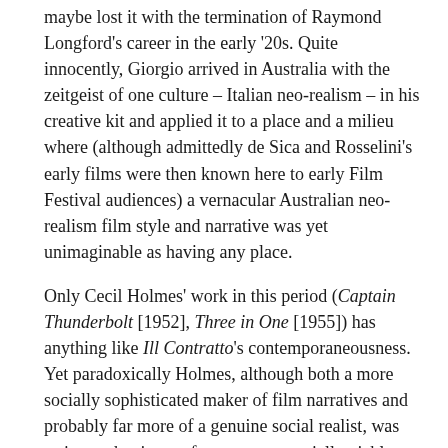maybe lost it with the termination of Raymond Longford's career in the early '20s. Quite innocently, Giorgio arrived in Australia with the zeitgeist of one culture – Italian neo-realism – in his creative kit and applied it to a place and a milieu where (although admittedly de Sica and Rosselini's early films were then known here to early Film Festival audiences) a vernacular Australian neo-realism film style and narrative was yet unimaginable as having any place.
Only Cecil Holmes' work in this period (Captain Thunderbolt [1952], Three in One [1955]) has anything like Ill Contratto's contemporaneousness. Yet paradoxically Holmes, although both a more socially sophisticated maker of film narratives and probably far more of a genuine social realist, was trying at the time to forge a commercially viable national film product. Out of this imperative, he largely sublimated his own otherwise realist and contemporary thematic pre-occupations into popular vernacular period drama genres, such as the Lawsonite yarn or the Bushranger adventure. No matter how much Holmes transformed these genres through (cryto-) Marxist reading, they none the less indicate an opinion that Australian post war cinema audiences, quite unlike their Italian